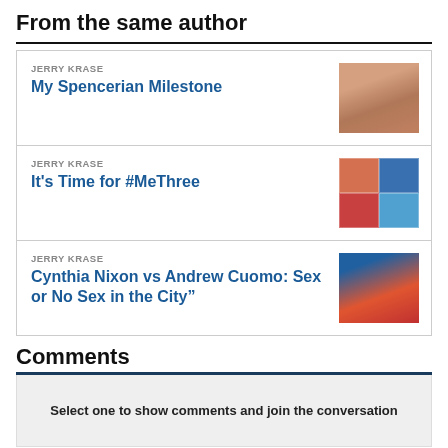From the same author
JERRY KRASE
My Spencerian Milestone
JERRY KRASE
It's Time for #MeThree
JERRY KRASE
Cynthia Nixon vs Andrew Cuomo: Sex or No Sex in the City”
Comments
Select one to show comments and join the conversation